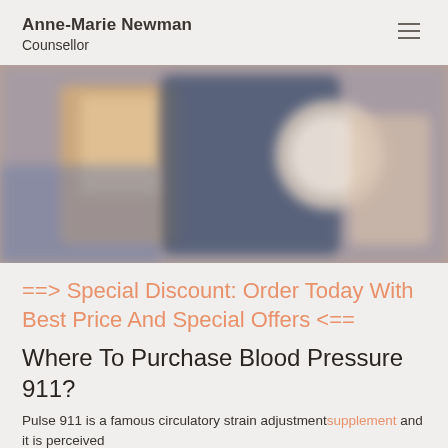Anne-Marie Newman
Counsellor
[Figure (photo): Blurred image of a person holding what appears to be a supplement bottle or medical product, with colorful packaging visible.]
==> Special Discount: Order Today With Best Price And Special Offers <==
Where To Purchase Blood Pressure 911?
Pulse 911 is a famous circulatory strain adjustment supplement and it is perceived